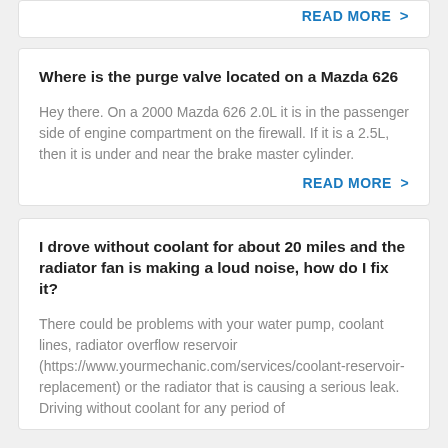READ MORE >
Where is the purge valve located on a Mazda 626
Hey there. On a 2000 Mazda 626 2.0L it is in the passenger side of engine compartment on the firewall. If it is a 2.5L, then it is under and near the brake master cylinder.
READ MORE >
I drove without coolant for about 20 miles and the radiator fan is making a loud noise, how do I fix it?
There could be problems with your water pump, coolant lines, radiator overflow reservoir (https://www.yourmechanic.com/services/coolant-reservoir-replacement) or the radiator that is causing a serious leak. Driving without coolant for any period of